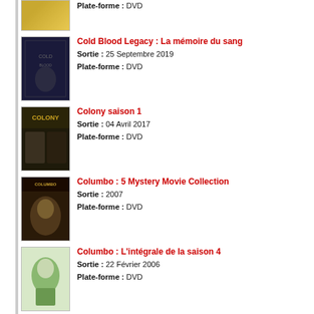Plate-forme : DVD
Cold Blood Legacy : La mémoire du sang | Sortie : 25 Septembre 2019 | Plate-forme : DVD
Colony saison 1 | Sortie : 04 Avril 2017 | Plate-forme : DVD
Columbo : 5 Mystery Movie Collection | Sortie : 2007 | Plate-forme : DVD
Columbo : L'intégrale de la saison 4 | Sortie : 22 Février 2006 | Plate-forme : DVD
Columbo : L'intégrale de la saison 5 | Sortie : 24 Octobre 2006 | Plate-forme : DVD
Columbo : l'intégrale de la série | Sortie : 24 Novembre 2007 | Plate-forme : DVD